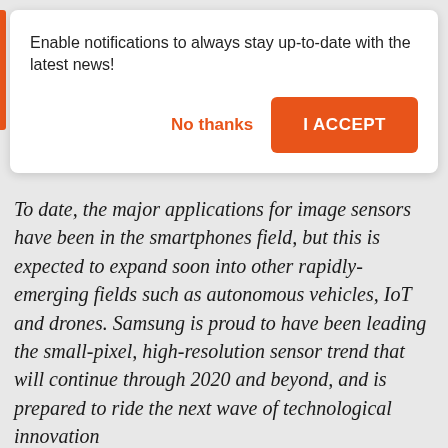[Figure (screenshot): Browser notification permission dialog with text 'Enable notifications to always stay up-to-date with the latest news!' and two buttons: 'No thanks' (orange text) and 'I ACCEPT' (orange filled button)]
To date, the major applications for image sensors have been in the smartphones field, but this is expected to expand soon into other rapidly-emerging fields such as autonomous vehicles, IoT and drones. Samsung is proud to have been leading the small-pixel, high-resolution sensor trend that will continue through 2020 and beyond, and is prepared to ride the next wave of technological innovation